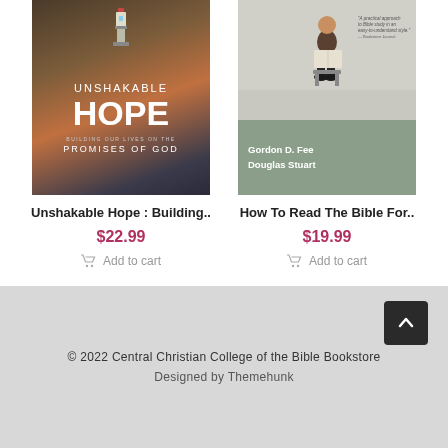[Figure (illustration): Book cover of Unshakable Hope: Building Our Lives on the Promises of God, showing a lighthouse on a rocky cliff]
[Figure (illustration): Book cover of How To Read The Bible For All Its Worth by Gordon D. Fee and Douglas Stuart, showing a man sitting reading a book]
Unshakable Hope : Building..
$22.99
Add to cart
How To Read The Bible For..
$19.99
Add to cart
© 2022 Central Christian College of the Bible Bookstore
Designed by Themehunk